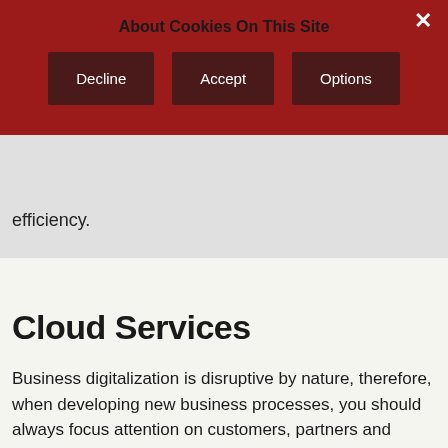About Cookies On This Site
Decline | Accept | Options
efficiency.
Cloud Services
Business digitalization is disruptive by nature, therefore, when developing new business processes, you should always focus attention on customers, partners and employees. It's vital to have a foundation that's stable, powerful and